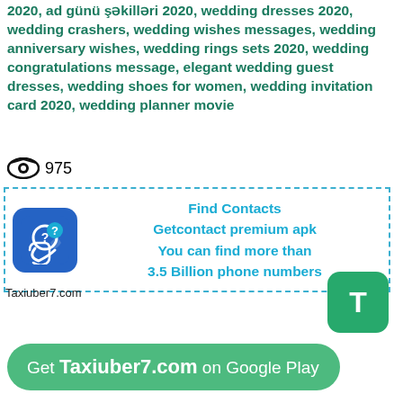2020, ad günü şəkilləri 2020, wedding dresses 2020, wedding crashers, wedding wishes messages, wedding anniversary wishes, wedding rings sets 2020, wedding congratulations message, elegant wedding guest dresses, wedding shoes for women, wedding invitation card 2020, wedding planner movie
975
[Figure (infographic): Getcontact app advertisement box with dashed blue border, showing phone/contact icon logo and text: Find Contacts, Getcontact premium apk, You can find more than 3.5 Billion phone numbers]
Taxiuber7.com
[Figure (logo): Green rounded square button with letter T]
Get Taxiuber7.com on Google Play